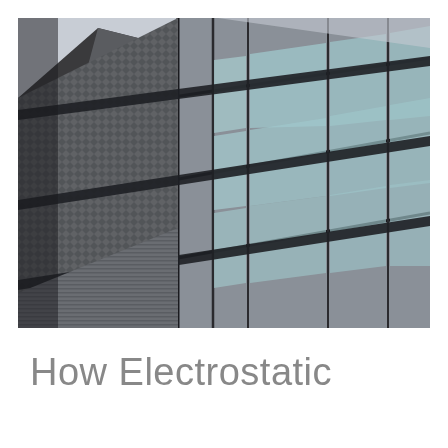[Figure (photo): Upward-angle photograph of a modern multi-story building facade featuring alternating panels of glass windows with teal-blue tint and dark metallic/textured cladding panels with a grid/diamond pattern. The building is shot from below looking up at an angle, creating a dramatic perspective. The sky is overcast and light grey.]
How Electrostatic